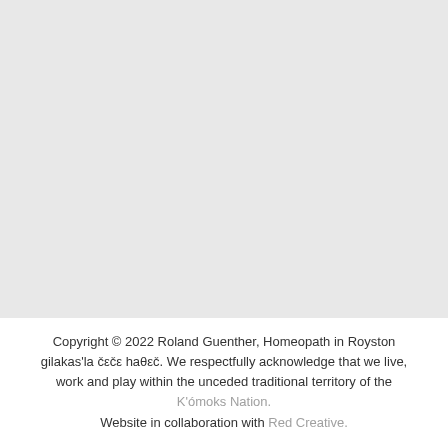[Figure (other): Large light grey blank area occupying the top portion of the page]
Copyright © 2022 Roland Guenther, Homeopath in Royston gilakas'la čεčε haθεč. We respectfully acknowledge that we live, work and play within the unceded traditional territory of the K'ómoks Nation. Website in collaboration with Red Creative.